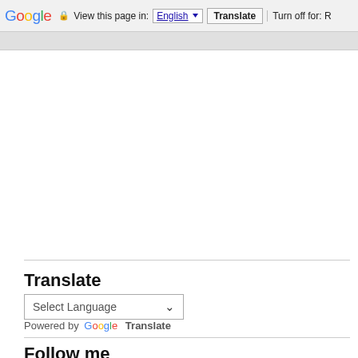[Figure (screenshot): Google Translate browser toolbar showing 'View this page in: English [dropdown] | Translate | Turn off for: R']
Google  View this page in: English ▼  Translate  Turn off for: R
Translate
Select Language ∨
Powered by Google Translate
Follow me
Сообщения